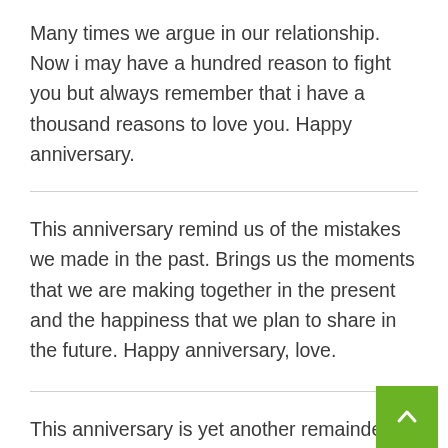Many times we argue in our relationship. Now i may have a hundred reason to fight you but always remember that i have a thousand reasons to love you. Happy anniversary.
This anniversary remind us of the mistakes we made in the past. Brings us the moments that we are making together in the present and the happiness that we plan to share in the future. Happy anniversary, love.
This anniversary is yet another remainder of the